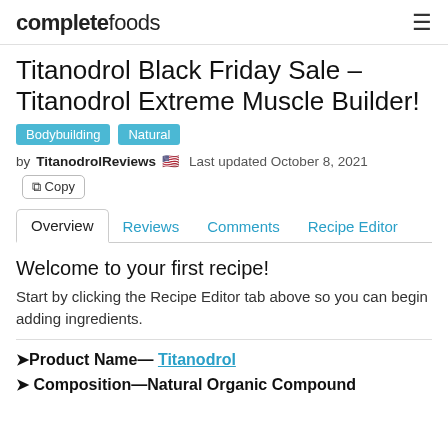completefoods
Titanodrol Black Friday Sale – Titanodrol Extreme Muscle Builder!
Bodybuilding  Natural
by TitanodrolReviews 🇺🇸   Last updated October 8, 2021   Copy
Overview  Reviews  Comments  Recipe Editor
Welcome to your first recipe!
Start by clicking the Recipe Editor tab above so you can begin adding ingredients.
➤Product Name— Titanodrol
➤ Composition—Natural Organic Compound